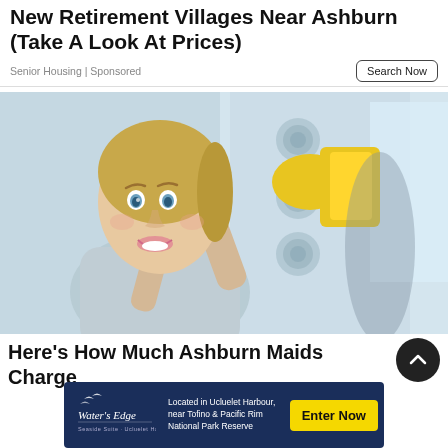New Retirement Villages Near Ashburn (Take A Look At Prices)
Senior Housing | Sponsored
[Figure (photo): Smiling blonde woman wearing yellow rubber gloves, cleaning a mirror/glass surface with a spray bottle and yellow cloth. Her reflection visible in background.]
Here's How Much Ashburn Maids Charge
[Figure (infographic): Advertisement banner for Water's Edge resort: 'Located in Ucluelet Harbour, near Tofino & Pacific Rim National Park Reserve' with 'Enter Now' yellow CTA button on dark navy background with Water's Edge logo.]